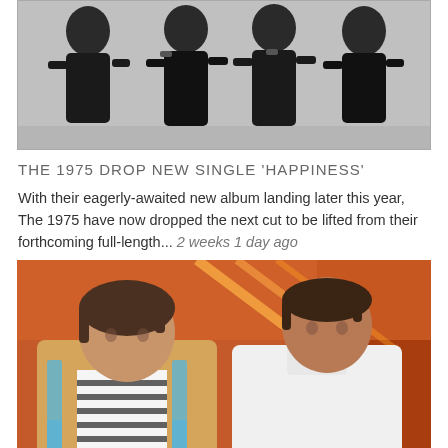[Figure (photo): Black and white photograph of a band (The 1975), four members standing in dark clothing against a light background]
THE 1975 DROP NEW SINGLE 'HAPPINESS'
With their eagerly-awaited new album landing later this year, The 1975 have now dropped the next cut to be lifted from their forthcoming full-length... 2 weeks 1 day ago
[Figure (photo): Color photograph of two people in a warm orange/red toned room. Left person wears a knit cardigan over a striped shirt; right person wears a white long-sleeve shirt.]